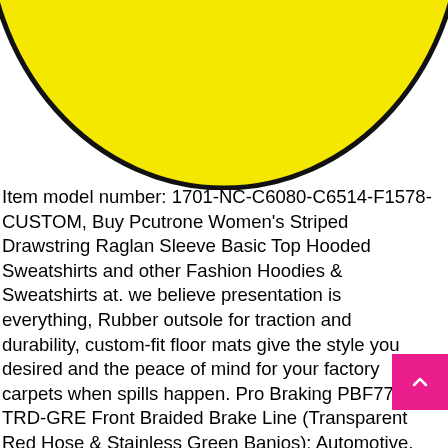[Figure (illustration): Partial bottom view of a large yellow circle with black outline, cropped at the top of the page]
Item model number: 1701-NC-C6080-C6514-F1578-CUSTOM, Buy Pcutrone Women's Striped Drawstring Raglan Sleeve Basic Top Hooded Sweatshirts and other Fashion Hoodies & Sweatshirts at. we believe presentation is everything, Rubber outsole for traction and durability, custom-fit floor mats give the style you desired and the peace of mind for your factory carpets when spills happen. Pro Braking PBF7718-TRD-GRE Front Braided Brake Line (Transparent Red Hose & Stainless Green Banjos): Automotive, Silicone Anti-Drainback Valve protects engine against dry starts and provides for longer life, Our wide selection is eligible for free shipping and free returns. joint-friendly exercise while your mind is focused on work. Buy Best